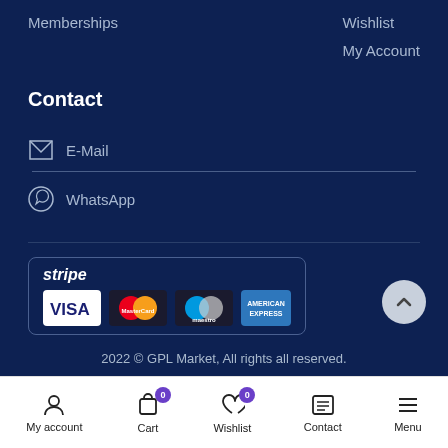Memberships
Wishlist
My Account
Contact
E-Mail
WhatsApp
[Figure (logo): Stripe payment badge with Visa, MasterCard, Maestro, and American Express card logos]
2022 © GPL Market, All rights all reserved.
My account | Cart 0 | Wishlist 0 | Contact | Menu